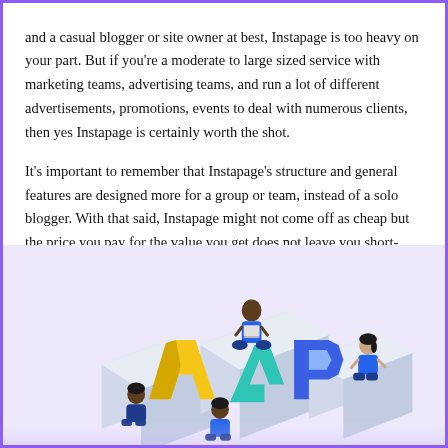and a casual blogger or site owner at best, Instapage is too heavy on your part. But if you're a moderate to large sized service with marketing teams, advertising teams, and run a lot of different advertisements, promotions, events to deal with numerous clients, then yes Instapage is certainly worth the shot.
It's important to remember that Instapage's structure and general features are designed more for a group or team, instead of a solo blogger. With that said, Instapage might not come off as cheap but the price you pay for the value you get does not leave you short-changed .
[Figure (illustration): Isometric illustration showing multiple people (in blue outfits) sitting and working around large 3D letters/blocks spelling something, with yellow, green and blue colored letters on a light purple/lavender background.]